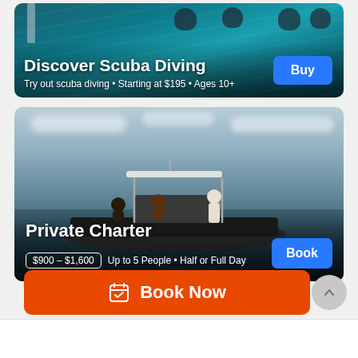[Figure (photo): Discover Scuba Diving promotional card with underwater photo showing divers, blue water, with Buy button]
[Figure (photo): Private Charter promotional card with photo of boat on water with people aboard, Book button]
[Figure (screenshot): Orange Book Now button with calendar icon at bottom of screen, plus gray scroll-up circle button]